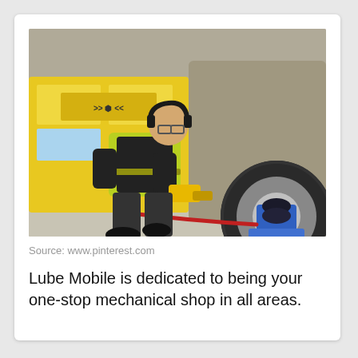[Figure (photo): A mechanic in a yellow high-visibility vest and black clothing, wearing headphones, kneels beside a car wheel and uses a yellow power tool to work on the tire. A blue jack and red hose are visible on the ground. A yellow service van with a logo is parked in the background.]
Source: www.pinterest.com
Lube Mobile is dedicated to being your one-stop mechanical shop in all areas.